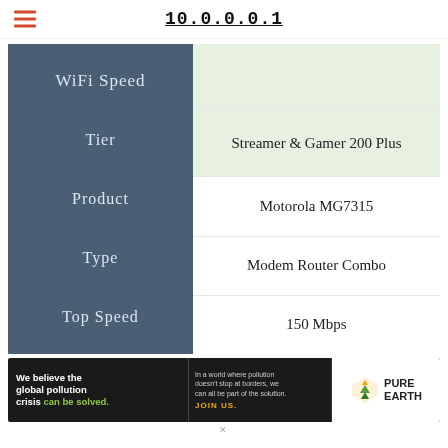10.0.0.0.1
| WiFi Speed |  |
| --- | --- |
| Tier | Streamer & Gamer 200 Plus |
| Product | Motorola MG7315 |
| Type | Modem Router Combo |
| Top Speed | 150 Mbps |
[Figure (infographic): Pure Earth advertisement banner: 'We believe the global pollution crisis can be solved.' with JOIN US call to action and Pure Earth logo]